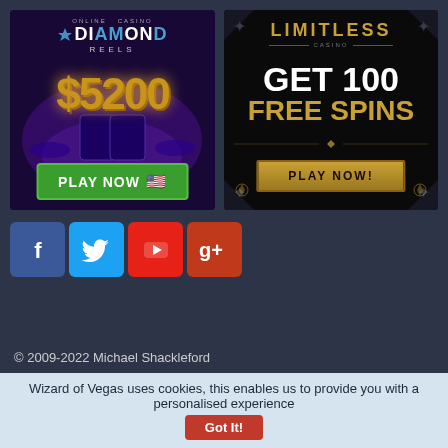[Figure (illustration): Diamond Reels casino advertisement showing $5200 bonus with Play Now button and US flag]
[Figure (illustration): Limitless Casino advertisement offering Get 100 Free Spins with Play Now button]
[Figure (illustration): Social media icon buttons for Facebook, Twitter, YouTube, and Google+]
© 2009-2022 Michael Shackleford
My other sites: Wizard of Odds, Wizard of Macau, Las Apuestas
Wizard of Vegas uses cookies, this enables us to provide you with a personalised experience Got It!